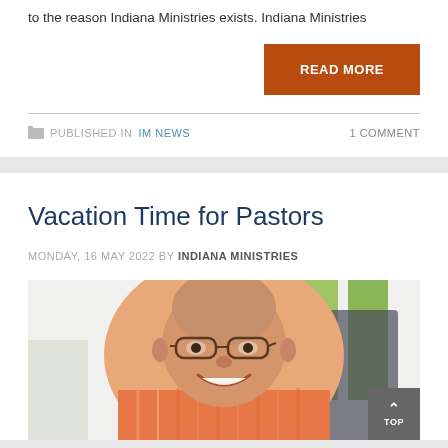to the reason Indiana Ministries exists. Indiana Ministries
READ MORE
PUBLISHED IN IM NEWS
1 COMMENT
Vacation Time for Pastors
MONDAY, 16 MAY 2022 BY INDIANA MINISTRIES
[Figure (photo): Smiling middle-aged man with glasses wearing an orange/white striped shirt, photographed outdoors with green and dark furniture visible in background.]